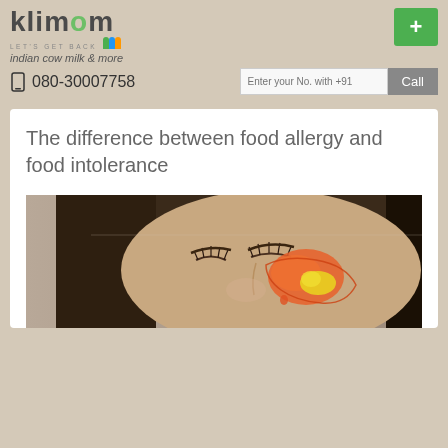klimom - LET'S GET BACK - indian cow milk & more
080-30007758
The difference between food allergy and food intolerance
[Figure (illustration): Medical illustration of a woman with closed eyes showing a cross-section of nasal/sinus anatomy with orange and yellow coloring indicating inflammation or congestion, related to food allergy/intolerance topic.]